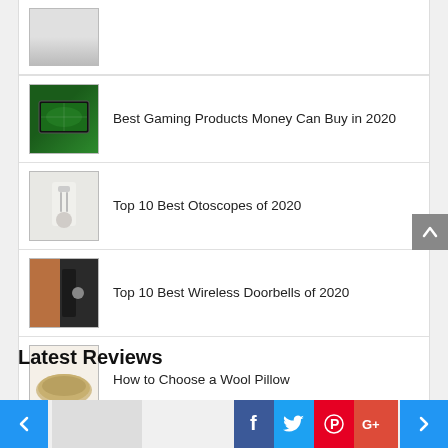[Figure (photo): Partial top thumbnail, cropped at page top]
Best Gaming Products Money Can Buy in 2020
Top 10 Best Otoscopes of 2020
Top 10 Best Wireless Doorbells of 2020
How to Choose a Wool Pillow
Latest Reviews
[Figure (screenshot): Navigation arrows and social media icons bar at the bottom: Facebook, Twitter, Pinterest, Google+]